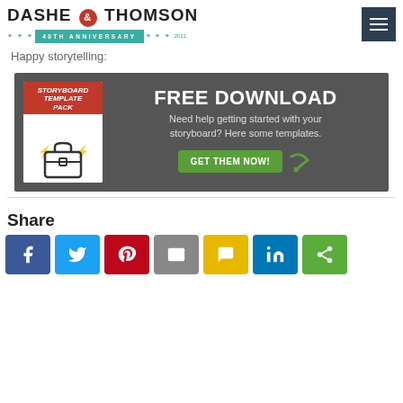[Figure (logo): Dashe & Thomson 40th Anniversary logo with teal ribbon and hamburger menu icon]
Happy storytelling:
[Figure (infographic): Storyboard Template Pack free download advertisement banner with book graphic, FREE DOWNLOAD headline, description text, and GET THEM NOW button]
Share
[Figure (infographic): Social share buttons: Facebook, Twitter, Pinterest, Email, SMS, LinkedIn, Share]